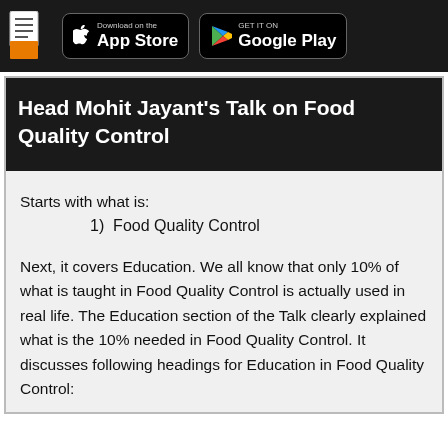Download on the App Store  GET IT ON Google Play
Head Mohit Jayant's Talk on Food Quality Control
Starts with what is:
1)  Food Quality Control
Next, it covers Education. We all know that only 10% of what is taught in Food Quality Control is actually used in real life. The Education section of the Talk clearly explained what is the 10% needed in Food Quality Control. It discusses following headings for Education in Food Quality Control: